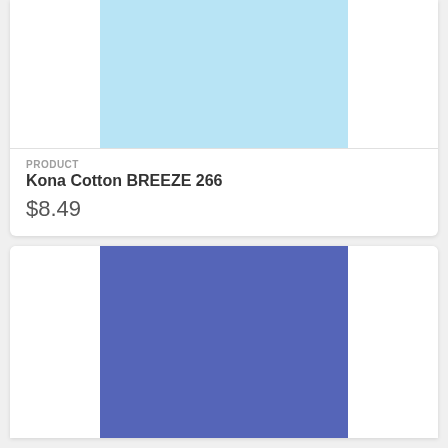[Figure (photo): Light blue fabric color swatch for Kona Cotton BREEZE 266]
PRODUCT
Kona Cotton BREEZE 266
$8.49
[Figure (photo): Medium blue/periwinkle fabric color swatch for a second Kona Cotton product]